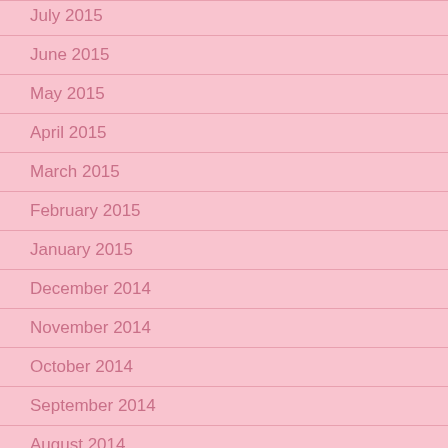July 2015
June 2015
May 2015
April 2015
March 2015
February 2015
January 2015
December 2014
November 2014
October 2014
September 2014
August 2014
July 2014
June 2014
May 2014